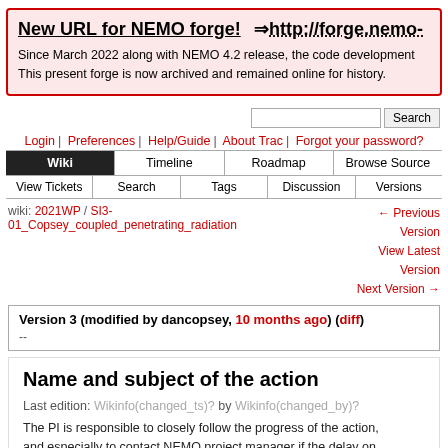New URL for NEMO forge! ⇒ http://forge.nemo- Since March 2022 along with NEMO 4.2 release, the code development This present forge is now archived and remained online for history.
Search
Login | Preferences | Help/Guide | About Trac | Forgot your password?
Wiki | Timeline | Roadmap | Browse Source
View Tickets | Search | Tags | Discussion | Versions
wiki: 2021WP / SI3-01_Copsey_coupled_penetrating_radiation ← Previous Version View Latest Version Next Version →
Version 3 (modified by dancopsey, 10 months ago) (diff)
--
Name and subject of the action
Last edition: Wikinfo(changed_ts)? by Wikinfo(changed_by)?
The PI is responsible to closely follow the progress of the action, and especially to contact NEMO project manager if the delay on